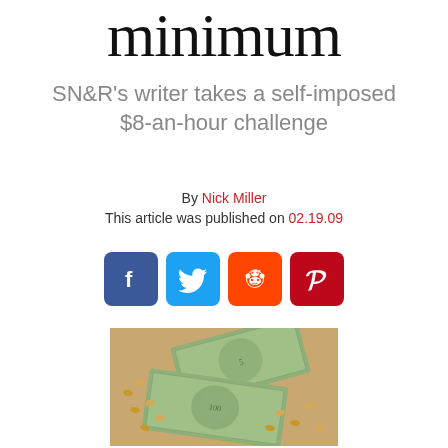minimum
SN&R's writer takes a self-imposed $8-an-hour challenge
By Nick Miller
This article was published on 02.19.09
[Figure (other): Social media share icons: Facebook, Twitter, Reddit, Pinterest]
[Figure (photo): Photo of US dollar bills with peanuts/beans scattered on a tan/kraft paper background]